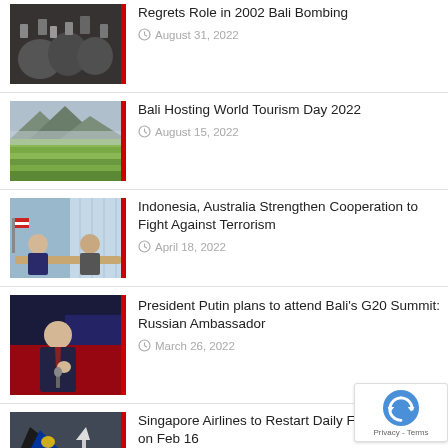Regrets Role in 2002 Bali Bombing
August 31, 2022
Bali Hosting World Tourism Day 2022
August 15, 2022
Indonesia, Australia Strengthen Cooperation to Fight Against Terrorism
April 18, 2022
President Putin plans to attend Bali's G20 Summit: Russian Ambassador
March 26, 2022
Singapore Airlines to Restart Daily Flights to Bali on Feb 16
January 30, 2022